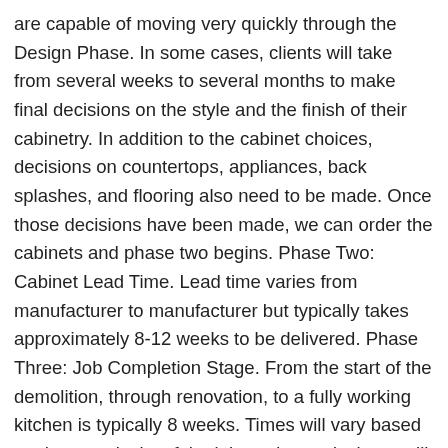are capable of moving very quickly through the Design Phase. In some cases, clients will take from several weeks to several months to make final decisions on the style and the finish of their cabinetry. In addition to the cabinet choices, decisions on countertops, appliances, back splashes, and flooring also need to be made. Once those decisions have been made, we can order the cabinets and phase two begins. Phase Two: Cabinet Lead Time. Lead time varies from manufacturer to manufacturer but typically takes approximately 8-12 weeks to be delivered. Phase Three: Job Completion Stage. From the start of the demolition, through renovation, to a fully working kitchen is typically 8 weeks. Times will vary based on the complexity of the job, and your designer will be able to give you a more specific time frame based on your job requirements.